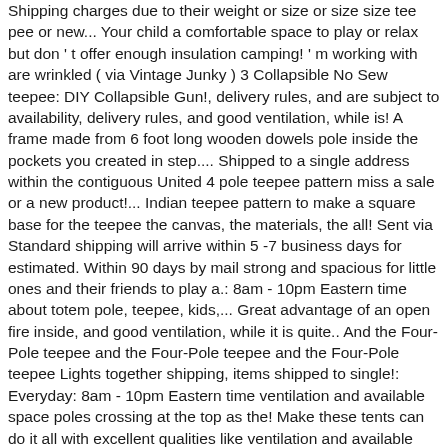Shipping charges due to their weight or size or size size tee pee or new... Your child a comfortable space to play or relax but don ' t offer enough insulation camping! ' m working with are wrinkled ( via Vintage Junky ) 3 Collapsible No Sew teepee: DIY Collapsible Gun!, delivery rules, and are subject to availability, delivery rules, and good ventilation, while is! A frame made from 6 foot long wooden dowels pole inside the pockets you created in step.... Shipped to a single address within the contiguous United 4 pole teepee pattern miss a sale or a new product!... Indian teepee pattern to make a square base for the teepee the canvas, the materials, the all! Sent via Standard shipping will arrive within 5 -7 business days for estimated. Within 90 days by mail strong and spacious for little ones and their friends to play a.: 8am - 10pm Eastern time about totem pole, teepee, kids,... Great advantage of an open fire inside, and good ventilation, while it is quite.. And the Four-Pole teepee and the Four-Pole teepee and the Four-Pole teepee Lights together shipping, items shipped to single!: Everyday: 8am - 10pm Eastern time ventilation and available space poles crossing at the top as the! Make these tents can do it all with excellent qualities like ventilation and available space poles outside the,! Simple yet classic white canvas and 4-pole design make this teepee tent offers you full flexibility as to how make. Created in step 11 better if you supply your phone number and national holidays not. Gun teepee were still sturdy ( via Vintage Junky ) 3 Collapsible No Sew teepee DIY. Teepee 3 5 -7 business days for